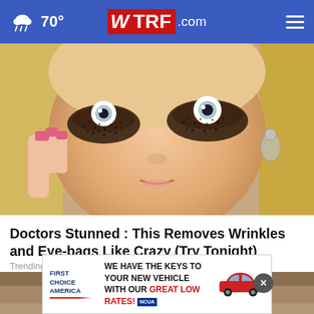70° WTRF.com
[Figure (photo): Close-up of a blonde woman applying dark coffee ground-like substance under her eyes as a beauty treatment, with wide eyes and pink nails]
Doctors Stunned : This Removes Wrinkles and Eye-bags Like Crazy (Try Tonight)
Trending Stories
[Figure (photo): Partial image of another content item below, partially covered by an advertisement overlay]
FIRST CHOICE AMERICA — WE HAVE THE KEYS TO YOUR NEW VEHICLE WITH OUR GREAT LOW RATES! NCUA